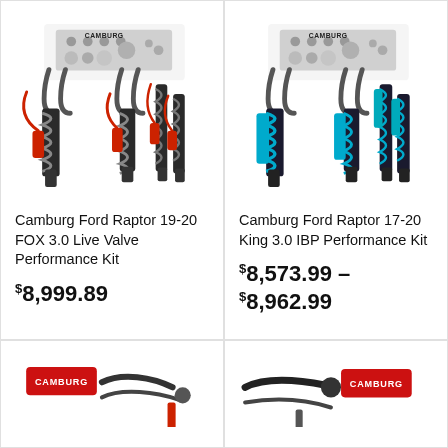[Figure (photo): Camburg Ford Raptor 19-20 FOX 3.0 Live Valve Performance Kit product photo showing suspension components with red/black coilovers and hardware]
Camburg Ford Raptor 19-20 FOX 3.0 Live Valve Performance Kit
$8,999.89
[Figure (photo): Camburg Ford Raptor 17-20 King 3.0 IBP Performance Kit product photo showing suspension components with blue/teal coilovers and hardware]
Camburg Ford Raptor 17-20 King 3.0 IBP Performance Kit
$8,573.99 – $8,962.99
[Figure (photo): Partial view of a Camburg product with logo visible, bottom left card]
[Figure (photo): Partial view of a Camburg product with logo visible, bottom right card]